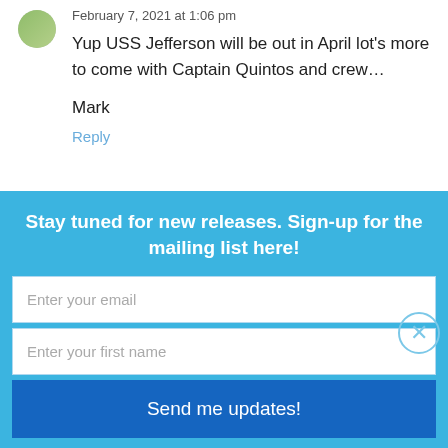February 7, 2021 at 1:06 pm
Yup USS Jefferson will be out in April lot's more to come with Captain Quintos and crew…
Mark
Reply
Stay tuned for new releases. Sign-up for the mailing list here!
Enter your email
Enter your first name
Send me updates!